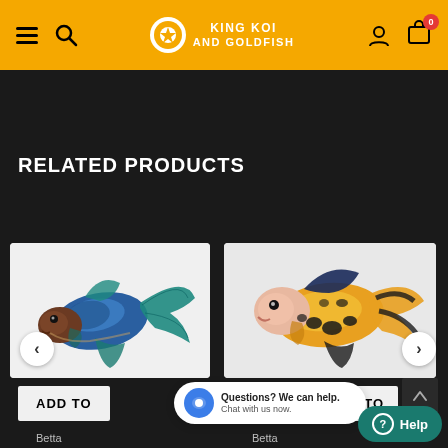King Koi and Goldfish — Navigation header with menu, search, logo, user, and cart icons
RELATED PRODUCTS
[Figure (photo): Blue and teal betta fish with flowing fins on white background]
[Figure (photo): Yellow and black spotted betta fish with blue dorsal fin on white background]
ADD TO
TO
Questions? We can help. Chat with us now.
Help
Betta
Betta